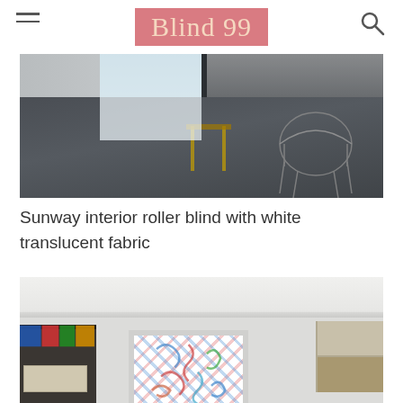Blind 99
[Figure (photo): Interior room with dark tiled floor, wire mesh chair, yellow wooden chairs, and large window with white roller blind]
Sunway interior roller blind with white translucent fabric
[Figure (photo): White room interior with decorative crown molding, dark shelving unit on left with colorful boxes, framed window with patterned roller blind showing colorful swirl design]